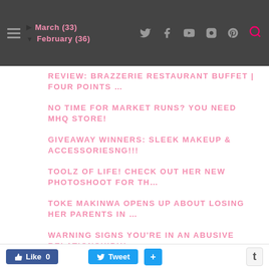March (33)
February (36)
REVIEW: BRAZZERIE RESTAURANT BUFFET | FOUR POINTS …
NO TIME FOR MARKET RUNS? YOU NEED MHQ STORE!
GIVEAWAY WINNERS: SLEEK MAKEUP & ACCESSORIESNG!!!
TOOLZ OF LIFE! CHECK OUT HER NEW PHOTOSHOOT FOR TH…
TOKE MAKINWA OPENS UP ABOUT LOSING HER PARENTS IN …
WARNING SIGNS YOU'RE IN AN ABUSIVE RELATIONSHIP!!!
WHAT I MISS ABOUT LIVING IN THE …
Like 0   Tweet   +   t